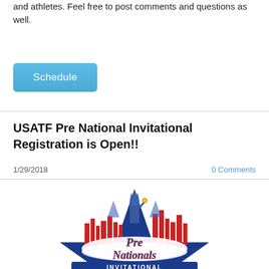and athletes. Feel free to post comments and questions as well.
[Figure (other): Blue rounded rectangle button labeled 'Schedule']
USATF Pre National Invitational Registration is Open!!
1/29/2018
0 Comments
[Figure (logo): Pre Nationals Invitational logo featuring a blue star with Statue of Liberty and city skyline, with 'Pre Nationals Invitational' text in script]